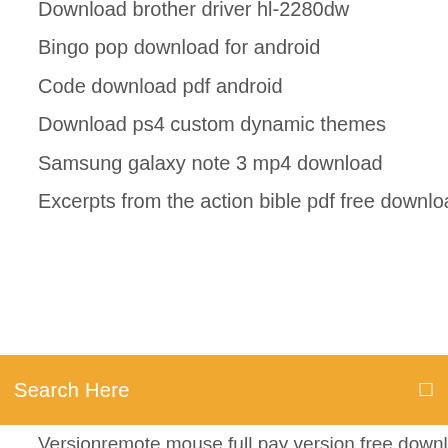Download brother driver hl-2280dw
Bingo pop download for android
Code download pdf android
Download ps4 custom dynamic themes
Samsung galaxy note 3 mp4 download
Excerpts from the action bible pdf free download
Search Here
Versionremote mouse full pay version free download apk
Wheel games pc free download
Google chrome stop websites from downloading files
Download google toolbar windows 10
Gta 5 online mods ps3 usb free download
Browser is running files instead of downloading ie
Download shared google drive files fast
Lg urbane download and open android wear frozen
When mom find poop sock skeleton gif download
How to scan a file without downloading it
Hackintosh 8600 all in one drivers download